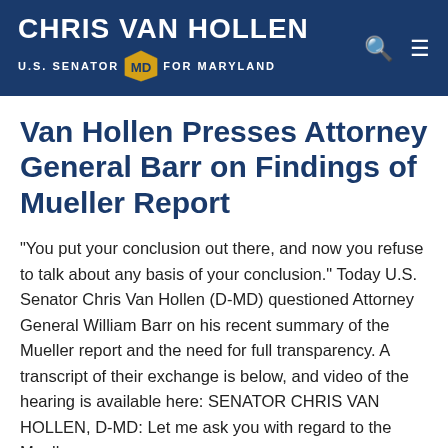CHRIS VAN HOLLEN U.S. SENATOR FOR MARYLAND
Van Hollen Presses Attorney General Barr on Findings of Mueller Report
"You put your conclusion out there, and now you refuse to talk about any basis of your conclusion." Today U.S. Senator Chris Van Hollen (D-MD) questioned Attorney General William Barr on his recent summary of the Mueller report and the need for full transparency. A transcript of their exchange is below, and video of the hearing is available here: SENATOR CHRIS VAN HOLLEN, D-MD: Let me ask you with regard to the Mueller